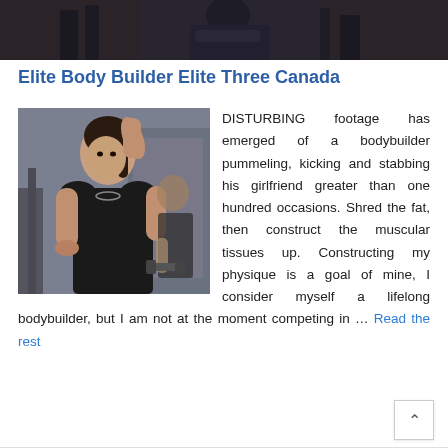[Figure (photo): Cropped photo of a person in a gym at the top of the page]
Elite Body Builder Elite Three Canada
[Figure (photo): A muscular woman in a black sleeveless top posing in a gym, with gym equipment visible in the background]
DISTURBING footage has emerged of a bodybuilder pummeling, kicking and stabbing his girlfriend greater than one hundred occasions. Shred the fat, then construct the muscular tissues up. Constructing my physique is a goal of mine, I consider myself a lifelong bodybuilder, but I am not at the moment competing in … Read the rest